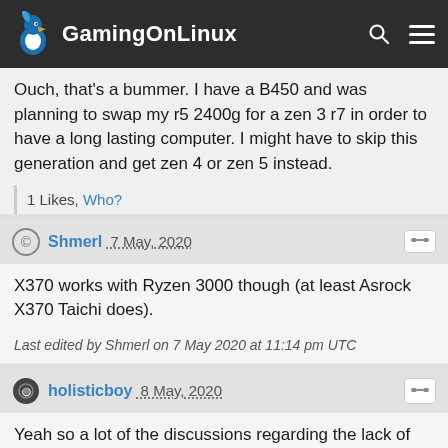GamingOnLinux
Ouch, that's a bummer. I have a B450 and was planning to swap my r5 2400g for a zen 3 r7 in order to have a long lasting computer. I might have to skip this generation and get zen 4 or zen 5 instead.
1 Likes, Who?
Shmerl 7 May, 2020
X370 works with Ryzen 3000 though (at least Asrock X370 Taichi does).
Last edited by Shmerl on 7 May 2020 at 11:14 pm UTC
holisticboy 8 May, 2020
Yeah so a lot of the discussions regarding the lack of